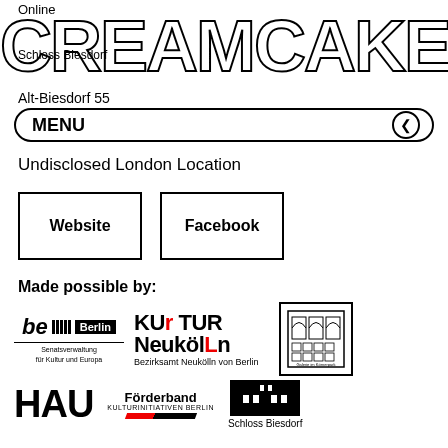Online
CREAMCAKE
Schloss Biesdorf
Alt-Biesdorf 55
MENU
Undisclosed London Location
Website
Facebook
Made possible by:
[Figure (logo): be Berlin Senatsverwaltung für Kultur und Europa logo]
[Figure (logo): KulTUR NeuköLLn Bezirksamt Neukölln von Berlin logo]
[Figure (logo): Galerie im Körnerpark logo with arched windows]
[Figure (logo): HAU logo in bold black text]
[Figure (logo): Förderband Kulturinitiativen Berlin logo with diagonal stripe]
[Figure (logo): Schloss Biesdorf logo with building silhouette]